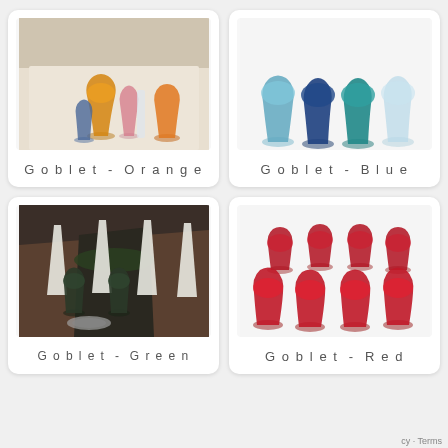[Figure (photo): Orange/amber glass goblets on a wedding reception table setting]
Goblet - Orange
[Figure (photo): Blue and teal glass goblets grouped together on white background]
Goblet - Blue
[Figure (photo): Dark green/grey goblets on a formal dining table with white napkins]
Goblet - Green
[Figure (photo): Red/ruby glass goblets grouped together on white background]
Goblet - Red